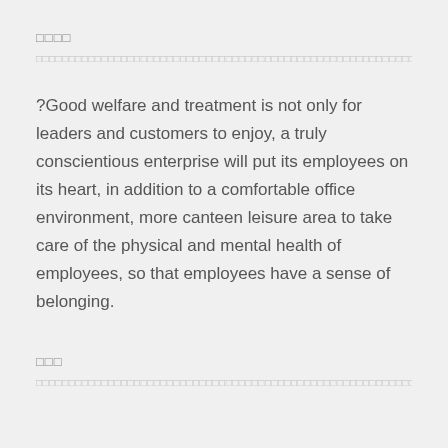□□□□
□□□□□□□□□□□□□□□□□□□□□□□□□□□□□□□□□□□□□□□□□□□□□□□□□□□□□□□□□□□□□□□□□□□□□□□□□□□□□□□□□□□□□□□□□□□□□□□□□□□□□□□□□□□□□□□□□□□□□□□□□□□□□□□□□□□□□□□□□□□□□□□□□□□□□□□□□□□□□□□□□□□□□□□□□□□□□□□□□□□□□□□□□□□□
?Good welfare and treatment is not only for leaders and customers to enjoy, a truly conscientious enterprise will put its employees on its heart, in addition to a comfortable office environment, more canteen leisure area to take care of the physical and mental health of employees, so that employees have a sense of belonging.
□□□
□□□□□□□□□□□□□□□□□□□□□□□□□□□□□□□□□□□□□□□□□□□□□□□□□□□□□□□□□□□□□□□□□□□□□□□□□□□□□□□□□□□□□□□□□□□□□□□□□□□